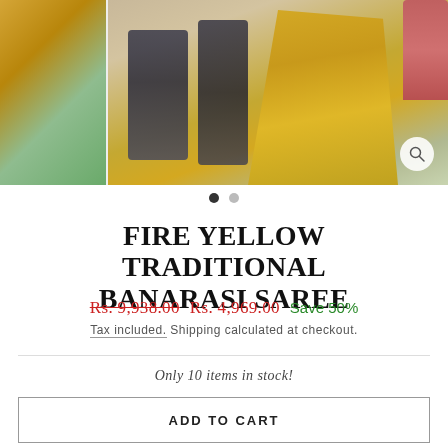[Figure (photo): Product photo of a yellow traditional Banarasi saree worn in an outdoor setting with ornate dark metal pillars and a pink stone column. Two panels shown: a close-up detail on the left and a wider shot on the right.]
FIRE YELLOW TRADITIONAL BANARASI SAREE
Rs. 9,938.00  Rs. 4,969.00  Save 50%
Tax included. Shipping calculated at checkout.
Only 10 items in stock!
ADD TO CART